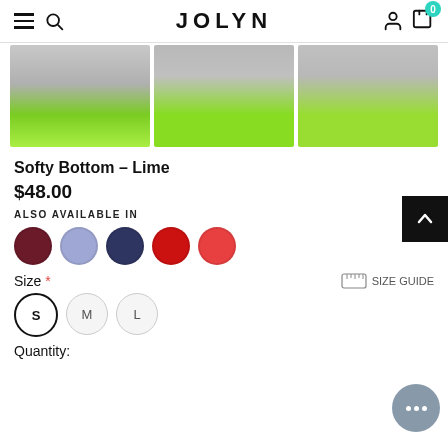JOLYN
[Figure (photo): Three product photos of lime green bikini bottom swimwear on female models]
Softy Bottom – Lime
$48.00
ALSO AVAILABLE IN
[Figure (illustration): Five color swatches: burgundy, lavender, navy, red, coral]
Size *
SIZE GUIDE
S  M  L
Quantity: